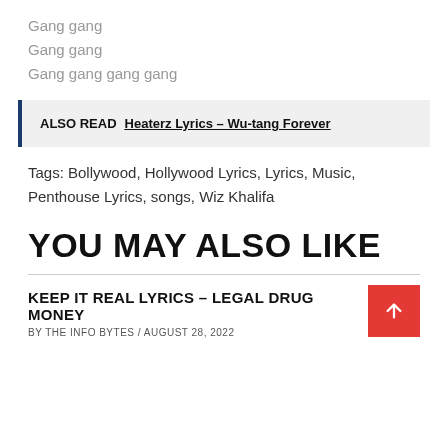Gang gang
Gang gang
Gang gang gang gang
ALSO READ  Heaterz Lyrics – Wu-tang Forever
Tags: Bollywood, Hollywood Lyrics, Lyrics, Music, Penthouse Lyrics, songs, Wiz Khalifa
YOU MAY ALSO LIKE
KEEP IT REAL LYRICS – LEGAL DRUG MONEY
BY THE INFO BYTES / AUGUST 28, 2022